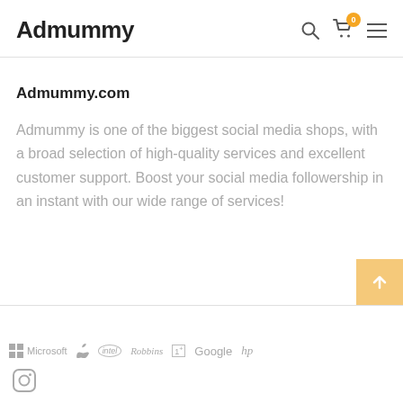Admummy
Admummy.com
Admummy is one of the biggest social media shops, with a broad selection of high-quality services and excellent customer support. Boost your social media followership in an instant with our wide range of services!
[Figure (logo): Footer brand logos: Microsoft, Apple, Intel, Robbins, OnePlus, Google, hp]
[Figure (logo): Instagram icon in footer]